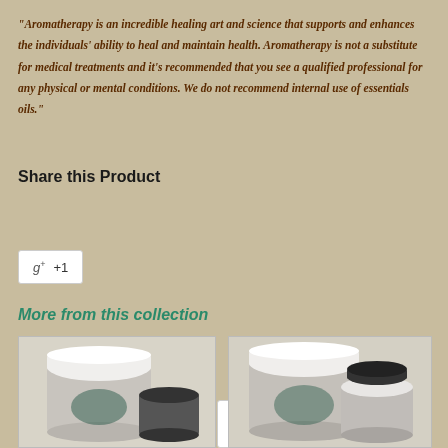"Aromatherapy is an incredible healing art and science that supports and enhances the individuals' ability to heal and maintain health. Aromatherapy is not a substitute for medical treatments and it's recommended that you see a qualified professional for any physical or mental conditions. We do not recommend internal use of essentials oils."
Share this Product
[Figure (infographic): Social sharing buttons: Facebook Share, Twitter Tweet, Pinterest Pin it, Fancy, and Google+1]
More from this collection
[Figure (photo): Product photo showing two essential oil containers - a larger silver jar with white cap and a smaller dark-capped bottle]
[Figure (photo): Product photo showing two essential oil containers - silver and white cap jars with black-capped bottles]